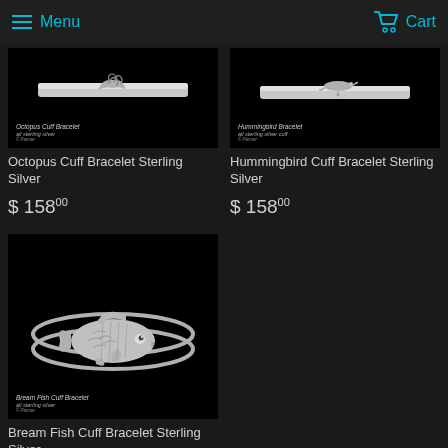Menu   Cart
[Figure (photo): Octopus Cuff Bracelet sterling silver product image on black background]
Octopus Cuff Bracelet Sterling Silver
$ 158 00
[Figure (photo): Hummingbird Cuff Bracelet sterling silver product image on black background]
Hummingbird Cuff Bracelet Sterling Silver
$ 158 00
[Figure (photo): Bream Fish Cuff Bracelet all sterling silver product image on black background]
Bream Fish Cuff Bracelet Sterling Silver